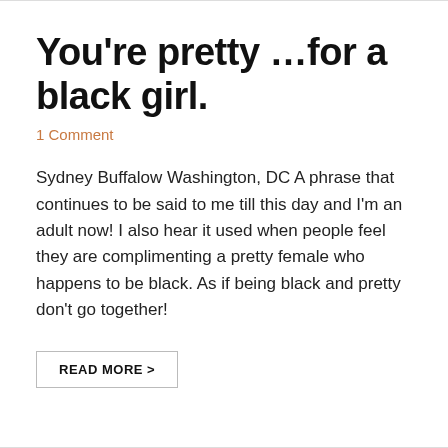You're pretty ...for a black girl.
1 Comment
Sydney Buffalow Washington, DC A phrase that continues to be said to me till this day and I'm an adult now! I also hear it used when people feel they are complimenting a pretty female who happens to be black. As if being black and pretty don't go together!
READ MORE >